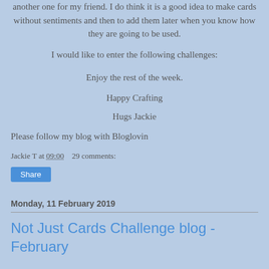another one for my friend. I do think it is a good idea to make cards without sentiments and then to add them later when you know how they are going to be used.
I would like to enter the following challenges:
Enjoy the rest of the week.
Happy Crafting
Hugs Jackie
Please follow my blog with Bloglovin
Jackie T at 09:00    29 comments:
Share
Monday, 11 February 2019
Not Just Cards Challenge blog - February